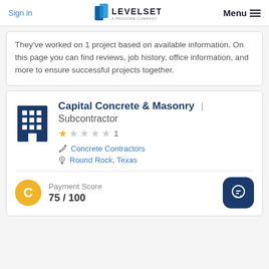Sign in | LEVELSET A PROCORE COMPANY | Menu
They've worked on 1 project based on available information. On this page you can find reviews, job history, office information, and more to ensure successful projects together.
Capital Concrete & Masonry | Subcontractor
★ ☆ ☆ ☆ ☆ 1
Concrete Contractors
Round Rock, Texas
Payment Score 75 / 100